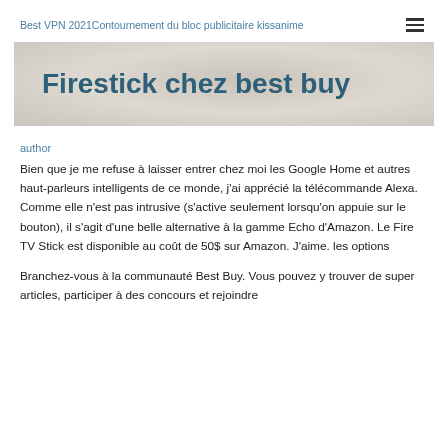Best VPN 2021Contournement du bloc publicitaire kissanime
Firestick chez best buy
author
Bien que je me refuse à laisser entrer chez moi les Google Home et autres haut-parleurs intelligents de ce monde, j'ai apprécié la télécommande Alexa. Comme elle n'est pas intrusive (s'active seulement lorsqu'on appuie sur le bouton), il s'agit d'une belle alternative à la gamme Echo d'Amazon. Le Fire TV Stick est disponible au coût de 50$ sur Amazon. J'aime. les options
Branchez-vous à la communauté Best Buy. Vous pouvez y trouver de super articles, participer à des concours et rejoindre